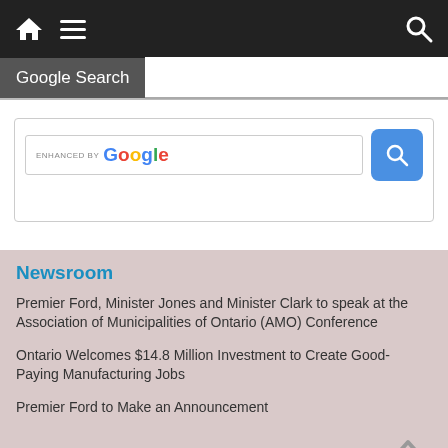[Figure (screenshot): Dark navigation bar with home icon, hamburger menu icon on left, and search icon on right]
Google Search
[Figure (screenshot): ENHANCED BY Google search widget with search input field and blue search button]
Newsroom
Premier Ford, Minister Jones and Minister Clark to speak at the Association of Municipalities of Ontario (AMO) Conference
Ontario Welcomes $14.8 Million Investment to Create Good-Paying Manufacturing Jobs
Premier Ford to Make an Announcement
Together, Let's Build Ontario
Lieutenant Governor to Deliver Speech from the Throne